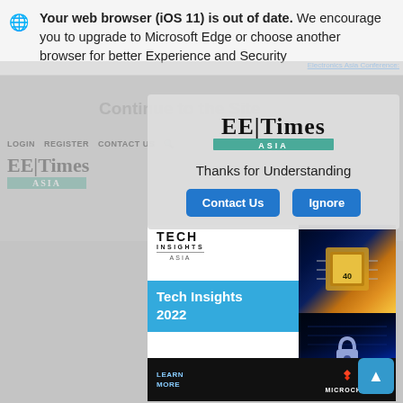Your web browser (iOS 11) is out of date. We encourage you to upgrade to Microsoft Edge or choose another browser for better Experience and Security
[Figure (screenshot): EE Times Asia website background with navigation bar showing LOGIN, REGISTER, CONTACT US links and EE Times Asia logo, with 'Continue to the Site' overlay text]
[Figure (logo): EE Times ASIA logo with teal/green underbar]
Thanks for Understanding
Contact Us
Ignore
[Figure (screenshot): Tech Insights Asia advertisement showing 'Tech Insights 2022' title, Microchip logo, chip image, security/wireless charging image, and 'Wireless Charging With Authentication' text. Learn More and Microchip logo at bottom.]